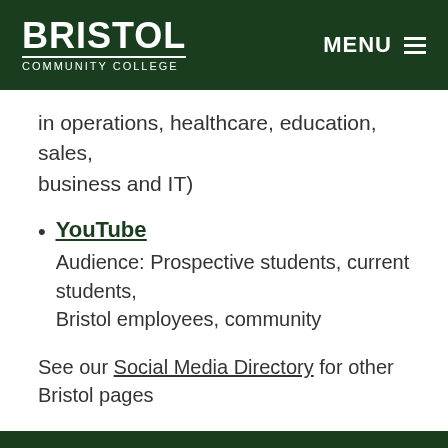BRISTOL COMMUNITY COLLEGE | MENU
in operations, healthcare, education, sales, business and IT)
YouTube
Audience: Prospective students, current students, Bristol employees, community
See our Social Media Directory for other Bristol pages
Creating New Bristol Channels
Are you a student, faculty or staff member interested in creating a new social media account for a program or service? Be sure to check out